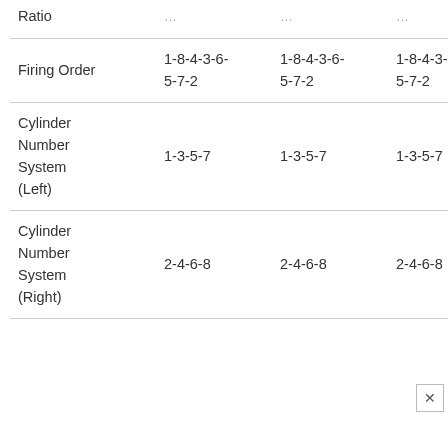|  |  |  |  |
| --- | --- | --- | --- |
| Ratio | 10/7/2 | 11/7/2 | 10/2/7/2 |
| Firing Order | 1-8-4-3-6-
5-7-2 | 1-8-4-3-6-
5-7-2 | 1-8-4-3-6-
5-7-2 |
| Cylinder Number System (Left) | 1-3-5-7 | 1-3-5-7 | 1-3-5-7 |
| Cylinder Number System (Right) | 2-4-6-8 | 2-4-6-8 | 2-4-6-8 |